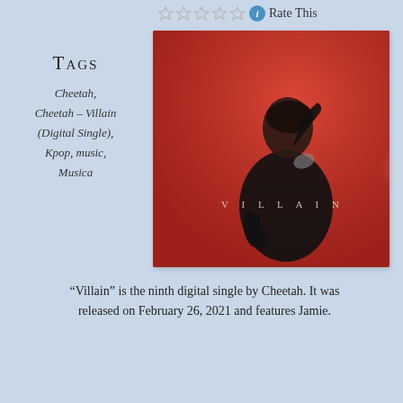Rate This
Tags
Cheetah, Cheetah - Villain (Digital Single), Kpop, music, Musica
[Figure (photo): Album cover for Villain by Cheetah – a woman in a black outfit against a red background with the word VILLAIN in spaced letters]
“Villain” is the ninth digital single by Cheetah. It was released on February 26, 2021 and features Jamie.